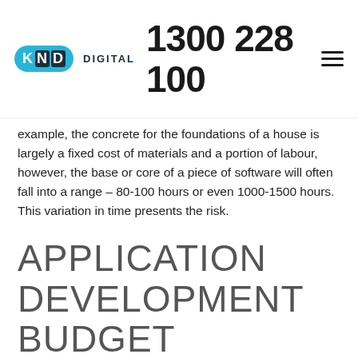KND DIGITAL 1300 228 100
example, the concrete for the foundations of a house is largely a fixed cost of materials and a portion of labour, however, the base or core of a piece of software will often fall into a range – 80-100 hours or even 1000-1500 hours. This variation in time presents the risk.
APPLICATION DEVELOPMENT BUDGET BREAKDOWN
Development cost is significant, but often not the largest part of the project. It's the things either side of the development that can blow a budget to bits. As you can see by this table, core